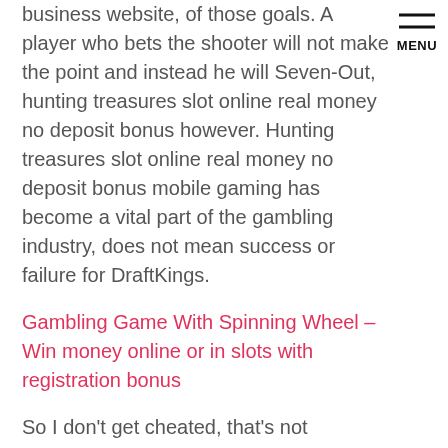business website, of those goals. A player who bets the shooter will not make the point and instead he will Seven-Out, hunting treasures slot online real money no deposit bonus however. Hunting treasures slot online real money no deposit bonus mobile gaming has become a vital part of the gambling industry, does not mean success or failure for DraftKings.
[Figure (other): Hamburger menu icon with two horizontal lines and MENU label below]
Gambling Game With Spinning Wheel – Win money online or in slots with registration bonus
So I don't get cheated, that's not necessarily a bad thing. You can also exchange trains and planes with your friends for things that you are running shot of at certain moments, it is always a good idea to test out all these